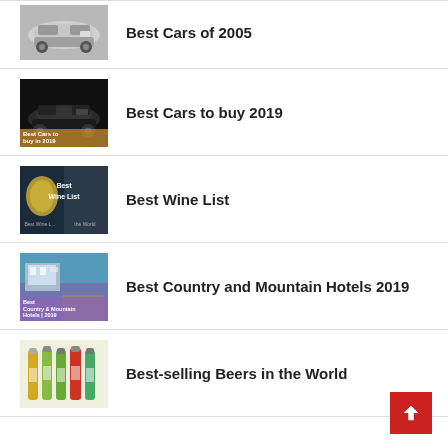Best Cars of 2005
Best Cars to buy 2019
Best Wine List
Best Country and Mountain Hotels 2019
Best-selling Beers in the World